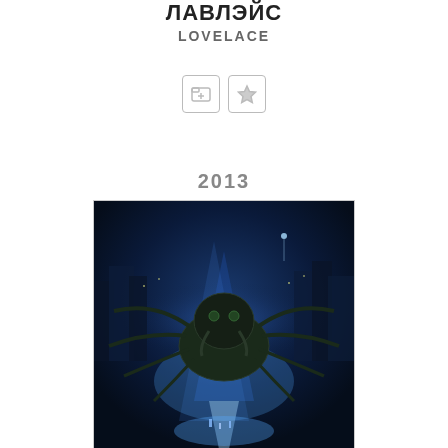ЛАВЛЭЙС
LOVELACE
[Figure (other): Two UI buttons: a folder-with-plus icon and a star icon, both outlined in light gray]
2013
[Figure (photo): Movie poster showing a giant spider creature in a blue-lit cityscape with small human figures at the bottom]